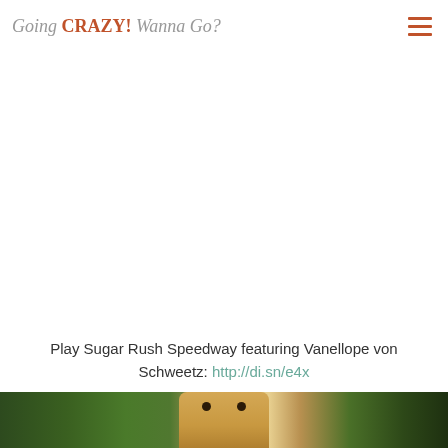Going CRAZY! Wanna Go?
[Figure (photo): Large white/blank area where an embedded image or video would appear]
Play Sugar Rush Speedway featuring Vanellope von Schweetz: http://di.sn/e4x
[Figure (photo): Bottom strip showing a partial image from the Wreck-It Ralph / Sugar Rush scene with character visible]